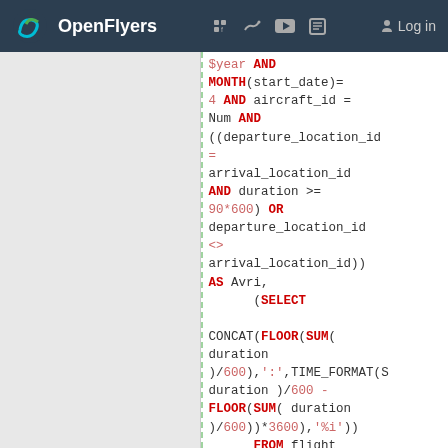OpenFlyers — website header with logo and navigation icons
[Figure (screenshot): OpenFlyers website header with logo (green swirl icon), site name 'OpenFlyers', social media icons (Facebook, Twitter, YouTube, RSS), and Log in button on dark navy background]
SQL code snippet showing:
$year AND
MONTH(start_date)=
4 AND aircraft_id =
Num AND
((departure_location_id
=
arrival_location_id
AND duration >=
90*600) OR
departure_location_id
<>
arrival_location_id))
AS Avri,
    (SELECT

CONCAT(FLOOR(SUM(
duration
)/600),':',TIME_FORMAT(S
duration )/600 -
FLOOR(SUM( duration
)/600))*3600),'%i'))
    FROM flight
    WHERE
YEAR(start_date)=
$year AND
MONTH(start_date)=
5 AND aircraft_id =